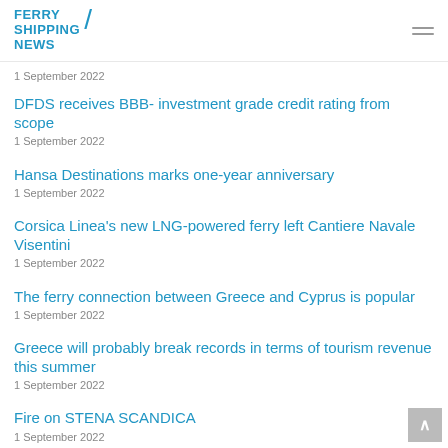FERRY SHIPPING NEWS
1 September 2022
DFDS receives BBB- investment grade credit rating from scope
1 September 2022
Hansa Destinations marks one-year anniversary
1 September 2022
Corsica Linea's new LNG-powered ferry left Cantiere Navale Visentini
1 September 2022
The ferry connection between Greece and Cyprus is popular
1 September 2022
Greece will probably break records in terms of tourism revenue this summer
1 September 2022
Fire on STENA SCANDICA
1 September 2022